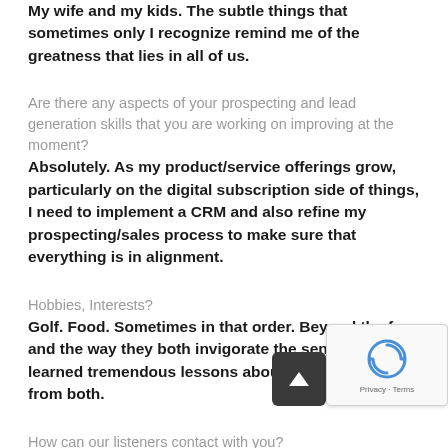My wife and my kids. The subtle things that sometimes only I recognize remind me of the greatness that lies in all of us.
Are there any aspects of your prospecting and lead generation skills that you are working on improving at the moment?
Absolutely. As my product/service offerings grow, particularly on the digital subscription side of things, I need to implement a CRM and also refine my prospecting/sales process to make sure that everything is in alignment.
Hobbies, Interests?
Golf. Food. Sometimes in that order. Beyond the fun and the way they both invigorate the senses, I've learned tremendous lessons about business and life from both.
How can our listeners contact with you?
[Figure (other): reCAPTCHA widget with Privacy and Terms links]